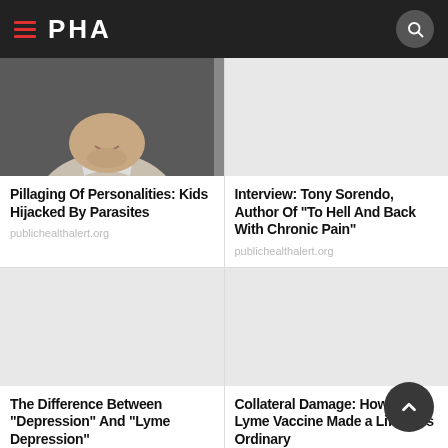PHA
[Figure (photo): Black and white photo of a child from chin down, wearing a collared shirt]
Pillaging Of Personalities: Kids Hijacked By Parasites
publichealthalert.org
Interview: Tony Sorendo, Author Of "To Hell And Back With Chronic Pain"
publichealthalert.org
[Figure (photo): Empty placeholder image area (white/light gray)]
[Figure (photo): Empty placeholder image area (white/light gray)]
The Difference Between "Depression" And "Lyme Depression"
publichealthalert.org
Collateral Damage: How the Lyme Vaccine Made a Life Less Ordinary
publichealthalert.org